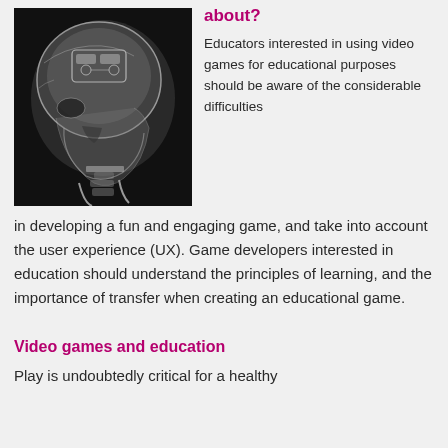What is this article about?
[Figure (photo): X-ray image of a human skull in profile view with electronic components/gaming device overlay visible inside the skull]
Educators interested in using video games for educational purposes should be aware of the considerable difficulties in developing a fun and engaging game, and take into account the user experience (UX). Game developers interested in education should understand the principles of learning, and the importance of transfer when creating an educational game.
Video games and education
Play is undoubtedly critical for a healthy